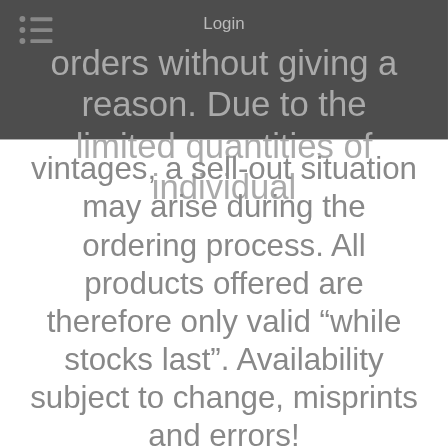Login
orders without giving a reason. Due to the limited quantities of individual vintages, a sell-out situation may arise during the ordering process. All products offered are therefore only valid “while stocks last”. Availability subject to change, misprints and errors!
2. PRICES AND SHIPPING CHARGES
2.1 The prices offered are gross prices in euros and include all statutory taxes and duties for